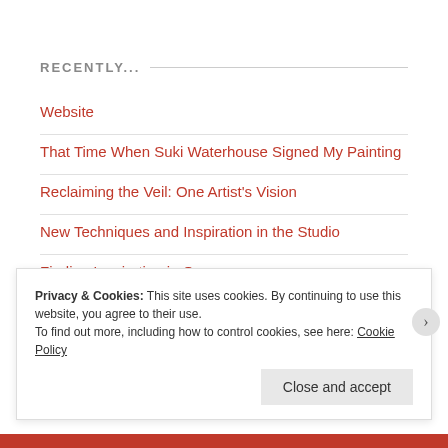RECENTLY...
Website
That Time When Suki Waterhouse Signed My Painting
Reclaiming the Veil: One Artist's Vision
New Techniques and Inspiration in the Studio
Finding Inspiration in Oman
Privacy & Cookies: This site uses cookies. By continuing to use this website, you agree to their use.
To find out more, including how to control cookies, see here: Cookie Policy
Close and accept